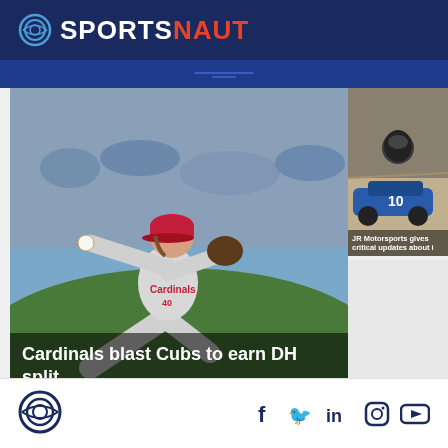SPORTSNAUT
[Figure (photo): Baseball pitcher in St. Louis Cardinals uniform number 40, in pitching stance on the mound, with blurred crowd in background]
Cardinals blast Cubs to earn DH split
[Figure (photo): Racing driver or motorsports figure near a blue race car at a track]
JR Motorsports gives critical updates about i
Sportsnaut logo and social media icons: Facebook, Twitter, LinkedIn, Instagram, YouTube